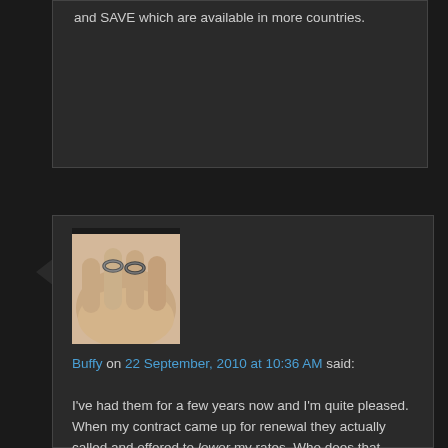and SAVE which are available in more countries.
[Figure (photo): User avatar showing a hand with rings]
Buffy on 22 September, 2010 at 10:36 AM said:
I've had them for a few years now and I'm quite pleased. When my contract came up for renewal they actually called and offered to lower my rates. Who does that anymore?

There are some caveats though. I use a fairly basic phone and a simple plan (I don't need or want a "smart phone"). I don't text or use